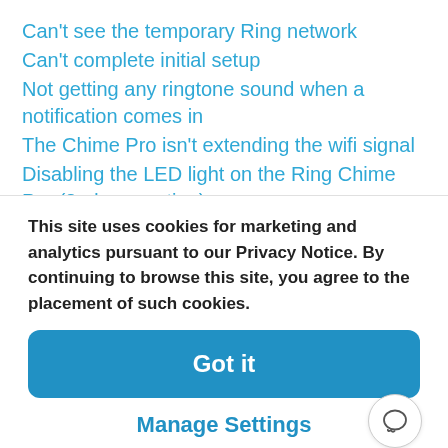Can't see the temporary Ring network
Can't complete initial setup
Not getting any ringtone sound when a notification comes in
The Chime Pro isn't extending the wifi signal
Disabling the LED light on the Ring Chime Pro (2nd generation)
Issue: Disconnection from your wifi network
If your Ring Chime Pro (or any of your Ring devices) have
This site uses cookies for marketing and analytics pursuant to our Privacy Notice. By continuing to browse this site, you agree to the placement of such cookies.
Got it
Manage Settings